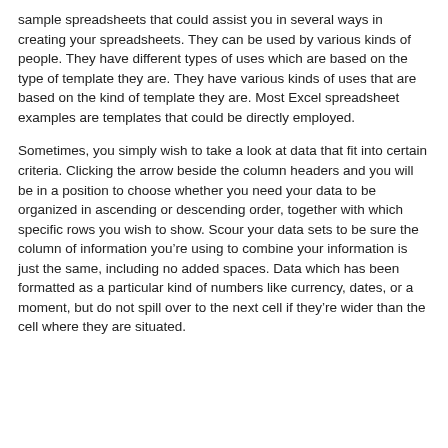sample spreadsheets that could assist you in several ways in creating your spreadsheets. They can be used by various kinds of people. They have different types of uses which are based on the type of template they are. They have various kinds of uses that are based on the kind of template they are. Most Excel spreadsheet examples are templates that could be directly employed.
Sometimes, you simply wish to take a look at data that fit into certain criteria. Clicking the arrow beside the column headers and you will be in a position to choose whether you need your data to be organized in ascending or descending order, together with which specific rows you wish to show. Scour your data sets to be sure the column of information you’re using to combine your information is just the same, including no added spaces. Data which has been formatted as a particular kind of numbers like currency, dates, or a moment, but do not spill over to the next cell if they’re wider than the cell where they are situated.